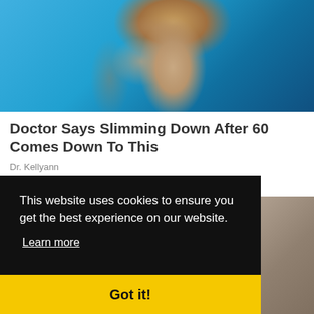[Figure (photo): Woman in blue shirt with hand raised near face, teal/blue background]
Doctor Says Slimming Down After 60 Comes Down To This
Dr. Kellyann
[Figure (photo): White horizontal siding/blinds with diagonal lines, outdoor setting]
This website uses cookies to ensure you get the best experience on our website.
Learn more
Got it!